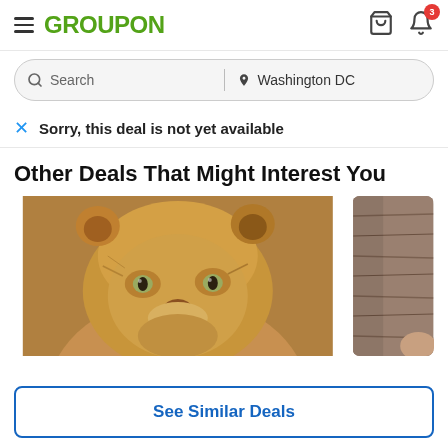GROUPON
Search | Washington DC
Sorry, this deal is not yet available
Other Deals That Might Interest You
[Figure (photo): Close-up photo of a lion's face]
[Figure (photo): Partial view of a wood/furniture deal image]
See Similar Deals